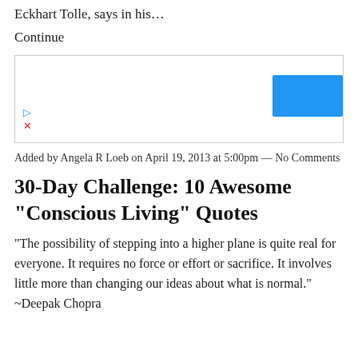Eckhart Tolle, says in his…
Continue
[Figure (other): Advertisement box with a blue rectangle button and play/close icons]
Added by Angela R Loeb on April 19, 2013 at 5:00pm — No Comments
30-Day Challenge: 10 Awesome "Conscious Living" Quotes
"The possibility of stepping into a higher plane is quite real for everyone. It requires no force or effort or sacrifice. It involves little more than changing our ideas about what is normal." ~Deepak Chopra